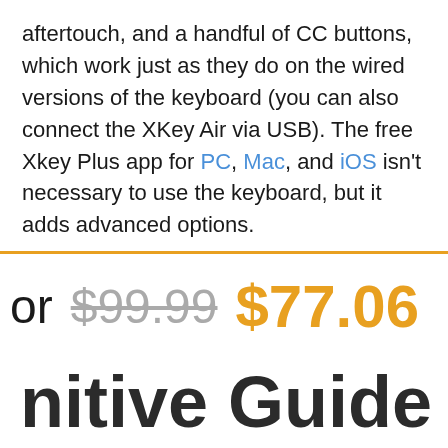aftertouch, and a handful of CC buttons, which work just as they do on the wired versions of the keyboard (you can also connect the XKey Air via USB). The free Xkey Plus app for PC, Mac, and iOS isn't necessary to use the keyboard, but it adds advanced options.
or $99.99 $77.06
nitive Guide to M